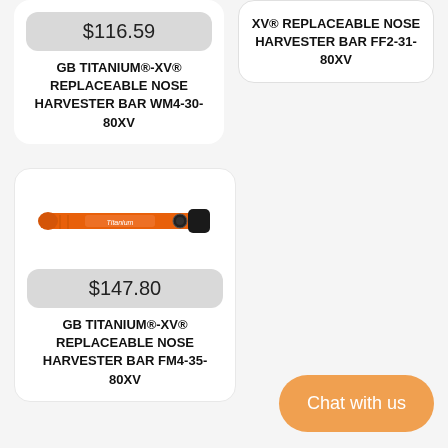$116.59
GB TITANIUM®-XV® REPLACEABLE NOSE HARVESTER BAR WM4-30-80XV
XV® REPLACEABLE NOSE HARVESTER BAR FF2-31-80XV
[Figure (photo): Orange GB Titanium harvester bar product photo]
$147.80
GB TITANIUM®-XV® REPLACEABLE NOSE HARVESTER BAR FM4-35-80XV
Chat with us